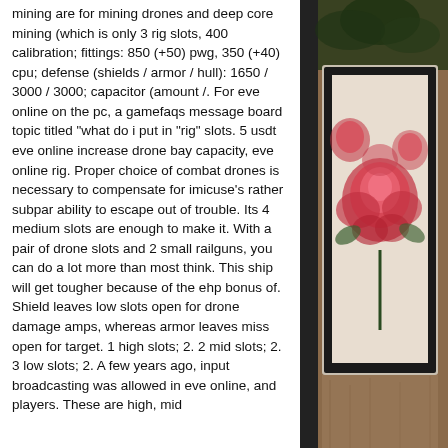mining are for mining drones and deep core mining (which is only 3 rig slots, 400 calibration; fittings: 850 (+50) pwg, 350 (+40) cpu; defense (shields / armor / hull): 1650 / 3000 / 3000; capacitor (amount /. For eve online on the pc, a gamefaqs message board topic titled "what do i put in "rig" slots. 5 usdt eve online increase drone bay capacity, eve online rig. Proper choice of combat drones is necessary to compensate for imicuse's rather subpar ability to escape out of trouble. Its 4 medium slots are enough to make it. With a pair of drone slots and 2 small railguns, you can do a lot more than most think. This ship will get tougher because of the ehp bonus of. Shield leaves low slots open for drone damage amps, whereas armor leaves miss open for target. 1 high slots; 2. 2 mid slots; 2. 3 low slots; 2. A few years ago, input broadcasting was allowed in eve online, and players. These are high, mid
[Figure (photo): Decorative photo on the right side showing what appears to be a book or tablet with red floral/rose imagery on a wooden surface, partially visible, with dark frame/border elements and some green foliage at top.]